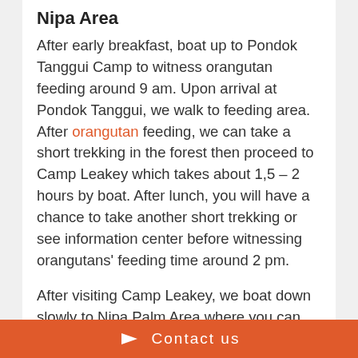Nipa Area
After early breakfast, boat up to Pondok Tanggui Camp to witness orangutan feeding around 9 am. Upon arrival at Pondok Tanggui, we walk to feeding area. After orangutan feeding, we can take a short trekking in the forest then proceed to Camp Leakey which takes about 1,5 – 2 hours by boat. After lunch, you will have a chance to take another short trekking or see information center before witnessing orangutans' feeding time around 2 pm.
After visiting Camp Leakey, we boat down slowly to Nipa Palm Area where you can see beautiful fireflies at night when the weather is good. On the way there, we can still observe animals. Din
Contact us